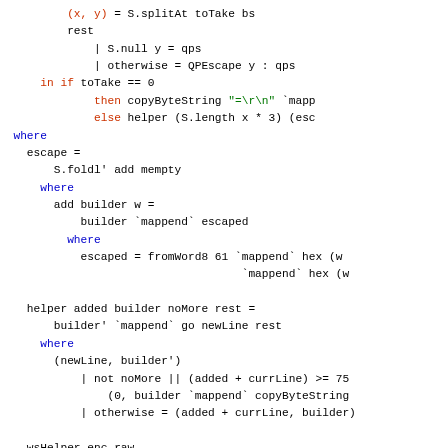[Figure (screenshot): Source code snippet in a functional programming language (Haskell), showing code for QPEscape, escape, add, helper, and wsHelper functions with syntax highlighting: keywords in red/orange, strings in green, identifiers/functions in blue.]